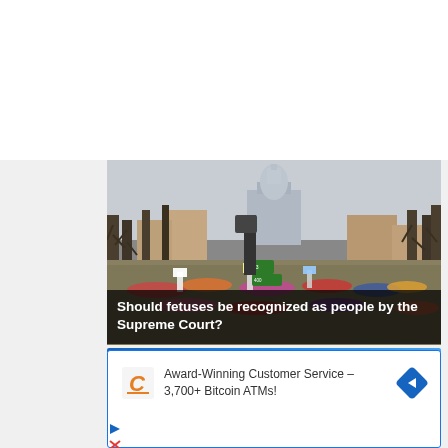[Figure (photo): Aerial/street view photo of a large crowd gathered on the National Mall in Washington D.C. with the U.S. Capitol building visible in the background, bare winter trees lining the street, people holding signs and flags.]
Should fetuses be recognized as people by the Supreme Court?
[Figure (infographic): Advertisement banner with Coinstar/Coin logo (orange C), text 'Award-Winning Customer Service - 3,700+ Bitcoin ATMs!' and a blue diamond-shaped navigation arrow icon.]